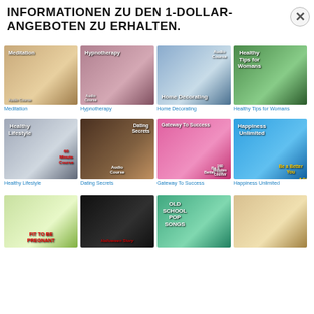INFORMATIONEN ZU DEN 1-DOLLAR-ANGEBOTEN ZU ERHALTEN.
[Figure (illustration): Grid of product thumbnails: Meditation, Hypnotherapy, Home Decorating, Healthy Tips for Womans, Healthy Lifestyle, Dating Secrets, Gateway To Success, Happiness Unlimited, and 4 more partially visible in row 3]
Meditation
Hypnotherapy
Home Decorating
Healthy Tips for Womans
Healthy Lifestyle
Dating Secrets
Gateway To Success
Happiness Unlimited